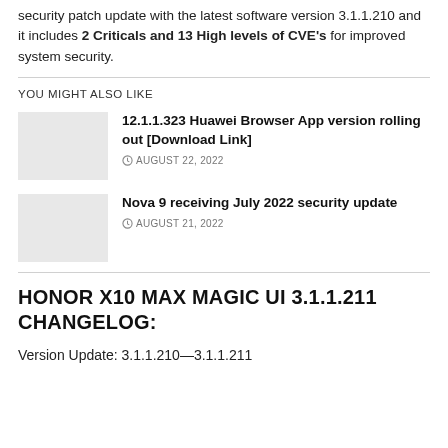security patch update with the latest software version 3.1.1.210 and it includes 2 Criticals and 13 High levels of CVE's for improved system security.
YOU MIGHT ALSO LIKE
[Figure (photo): Thumbnail image placeholder (light grey rectangle)]
12.1.1.323 Huawei Browser App version rolling out [Download Link]
AUGUST 22, 2022
[Figure (photo): Thumbnail image placeholder (light grey rectangle)]
Nova 9 receiving July 2022 security update
AUGUST 21, 2022
HONOR X10 MAX MAGIC UI 3.1.1.211 CHANGELOG:
Version Update: 3.1.1.210—3.1.1.211